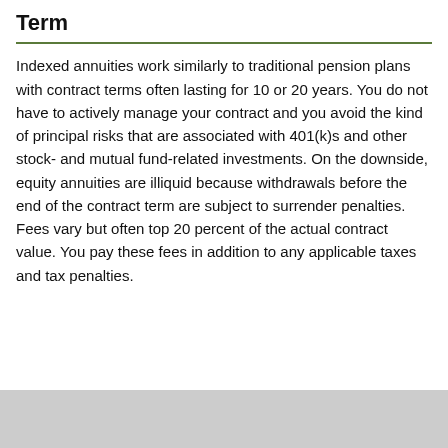Term
Indexed annuities work similarly to traditional pension plans with contract terms often lasting for 10 or 20 years. You do not have to actively manage your contract and you avoid the kind of principal risks that are associated with 401(k)s and other stock- and mutual fund-related investments. On the downside, equity annuities are illiquid because withdrawals before the end of the contract term are subject to surrender penalties. Fees vary but often top 20 percent of the actual contract value. You pay these fees in addition to any applicable taxes and tax penalties.